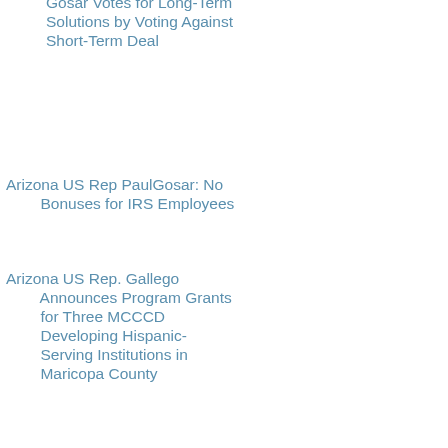Gosar Votes for Long-Term Solutions by Voting Against Short-Term Deal
Arizona US Rep PaulGosar: No Bonuses for IRS Employees
Arizona US Rep. Gallego Announces Program Grants for Three MCCCD Developing Hispanic-Serving Institutions in Maricopa County
Arizona US Senate Candidate
Arizona Valley metro
Arizona Vernon Parker Running For Congress? A special message from President George H.W. Bush
Arizona Visit
ARIZONA VOTE NO ON 204
ARIZONA VOTE NO TO RAISE YOUR TAXES ON